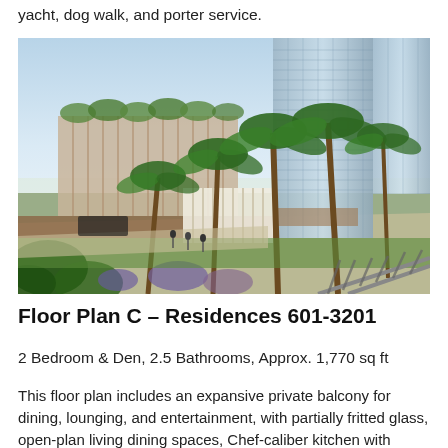yacht, dog walk, and porter service.
[Figure (photo): Architectural rendering of a luxury high-rise residential tower with palm trees, landscaped grounds, and pedestrians walking along a path. The building features glass curtain walls and a lower-rise curved structure adjacent to the main tower.]
Floor Plan C – Residences 601-3201
2 Bedroom & Den, 2.5 Bathrooms, Approx. 1,770 sq ft
This floor plan includes an expansive private balcony for dining, lounging, and entertainment, with partially fritted glass, open-plan living dining spaces, Chef-caliber kitchen with central island, master bedroom with five fixture bathroom, large walk in closet,